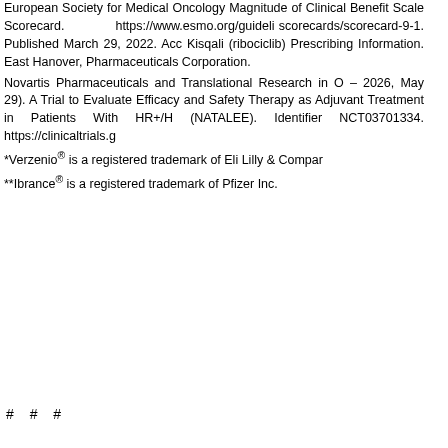European Society for Medical Oncology Magnitude of Clinical Benefit Scale Scorecard. https://www.esmo.org/guidelines/esmo-mcbs/esmo-mcbs-scorecards/scorecard-9-1. Published March 29, 2022. Accessed [date]. Kisqali (ribociclib) Prescribing Information. East Hanover, NJ: Novartis Pharmaceuticals Corporation. Novartis Pharmaceuticals and Translational Research in Oncology (2018 – 2026, May 29). A Trial to Evaluate Efficacy and Safety of Ribociclib Therapy as Adjuvant Treatment in Patients With HR+/HER2– EBC (NATALEE). Identifier NCT03701334. https://clinicaltrials.gov *Verzenio® is a registered trademark of Eli Lilly & Company. **Ibrance® is a registered trademark of Pfizer Inc.
# # #
Beperkte weergave !
Leden hebben toegang tot meer informatie! Omdat u nog niet ingelogd, ziet u nu een beperktere pagina. Wordt daarom wachtwoord
Copyrights © 2000 by XEA.nl all rights reserved
Niets mag zonder toestemming van de redactie worden gekopieerd, links zijn toegestaan.